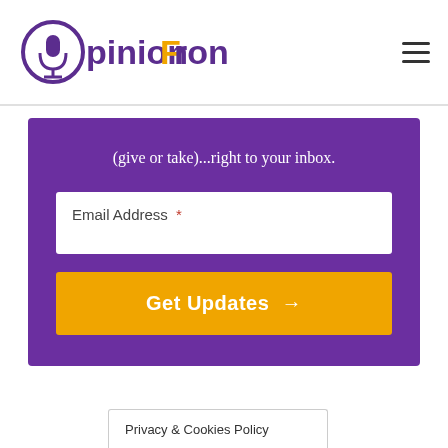OpinionFront
(give or take)...right to your inbox.
Email Address *
Get Updates →
Privacy & Cookies Policy